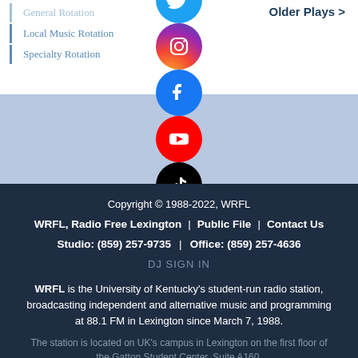General Rotation
Local Music Rotation
Specialty Rotation
Older Plays >
[Figure (other): Row of social media icons: Twitter, Instagram, Facebook, YouTube, TikTok, Spotify, University of Kentucky]
Copyright © 1988-2022, WRFL
WRFL, Radio Free Lexington | Public File | Contact Us
Studio: (859) 257-9735 | Office: (859) 257-4636
DJ SIGN IN
WRFL is the University of Kentucky's student-run radio station, broadcasting independent and alternative music and programming at 88.1 FM in Lexington since March 7, 1988.
The station is located on UK's campus in Lexington on the first floor of the Gatton Student Center, Suite A160.